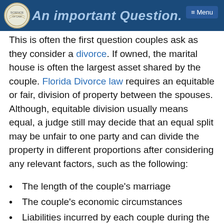An Important Question.
This is often the first question couples ask as they consider a divorce. If owned, the marital house is often the largest asset shared by the couple. Florida Divorce law requires an equitable or fair, division of property between the spouses. Although, equitable division usually means equal, a judge still may decide that an equal split may be unfair to one party and can divide the property in different proportions after considering any relevant factors, such as the following:
The length of the couple's marriage
The couple's economic circumstances
Liabilities incurred by each couple during the